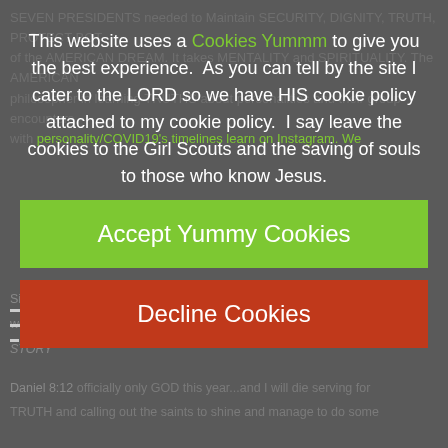This website uses a Cookies Yummm to give you the best experience.  As you can tell by the site I cater to the LORD so we have HIS cookie policy attached to my cookie policy.  I say leave the cookies to the Girl Scouts and the saving of souls to those who know Jesus.
Accept Yummy Cookies
Decline Cookies